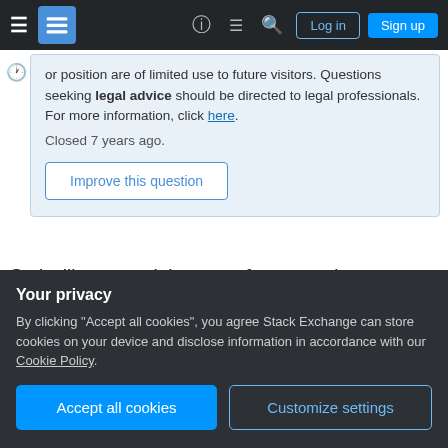Stack Exchange navigation bar with hamburger menu, logo, help, chat, search icons, Log in and Sign up buttons
or position are of limited use to future visitors. Questions seeking legal advice should be directed to legal professionals. For more information, click here. Closed 7 years ago.
Improve this question
So I will start my job as a software engineer very soon. I've never worked at a company before. What is not clear to me is how people/companies in
Your privacy
By clicking "Accept all cookies", you agree Stack Exchange can store cookies on your device and disclose information in accordance with our Cookie Policy.
Accept all cookies
Customize settings
a clear kind of job. For example, like being a cashier